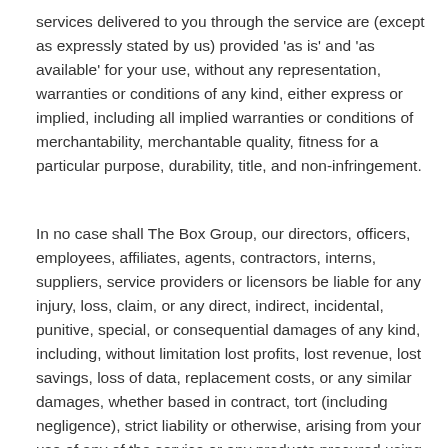services delivered to you through the service are (except as expressly stated by us) provided 'as is' and 'as available' for your use, without any representation, warranties or conditions of any kind, either express or implied, including all implied warranties or conditions of merchantability, merchantable quality, fitness for a particular purpose, durability, title, and non-infringement.
In no case shall The Box Group, our directors, officers, employees, affiliates, agents, contractors, interns, suppliers, service providers or licensors be liable for any injury, loss, claim, or any direct, indirect, incidental, punitive, special, or consequential damages of any kind, including, without limitation lost profits, lost revenue, lost savings, loss of data, replacement costs, or any similar damages, whether based in contract, tort (including negligence), strict liability or otherwise, arising from your use of any of the service or any products procured using the service, or for any other claim related in